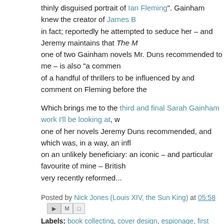thinly disguised portrait of Ian Fleming". Gainham knew the creator of James B in fact; reportedly he attempted to seduce her – and Jeremy maintains that The M one of two Gainham novels Mr. Duns recommended to me – is also "a commen of a handful of thrillers to be influenced by and comment on Fleming before the
Which brings me to the third and final Sarah Gainham work I'll be looking at, w one of her novels Jeremy Duns recommended, and which was, in a way, an infl on an unlikely beneficiary: an iconic – and particular favourite of mine – British very recently reformed...
Posted by Nick Jones (Louis XIV, the Sun King) at 05:58
Labels: book collecting, cover design, espionage, first edition, Ian Fleming, Jan Duns, journalism, Lewes, Neil Gower, Sarah Gainham, spy fiction, suspense, th
2 comments:
Matt Keeley  10 November 2011 at 13:25
As a big Fleming fan, I might have to read this – I'm curious to see e to Bond, especially since later commentaries on the character are so im
Reply